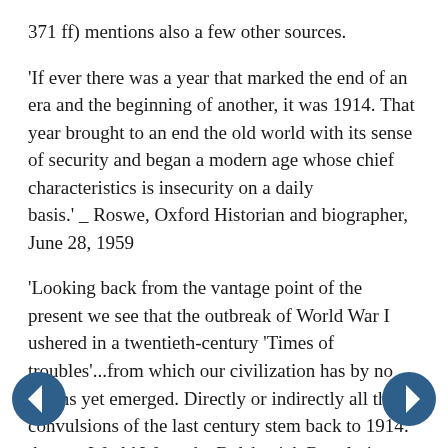371 ff) mentions also a few other sources.
'If ever there was a year that marked the end of an era and the beginning of another, it was 1914. That year brought to an end the old world with its sense of security and began a modern age whose chief characteristics is insecurity on a daily basis.' _ Roswe, Oxford Historian and biographer, June 28, 1959
'Looking back from the vantage point of the present we see that the outbreak of World War I ushered in a twentieth-century 'Times of troubles'...from which our civilization has by no means yet emerged. Directly or indirectly all the convulsions of the last century stem back to 1914: the two World Wars, the Bolshevick Revolution, the rise and fall of Hitler, the continuing turmoil in the Far and